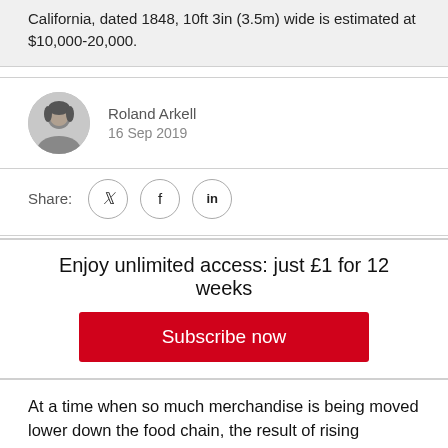California, dated 1848, 10ft 3in (3.5m) wide is estimated at $10,000-20,000.
Roland Arkell
16 Sep 2019
Share:
Enjoy unlimited access: just £1 for 12 weeks
Subscribe now
At a time when so much merchandise is being moved lower down the food chain, the result of rising minimum lot thresholds and the scaling-back in traditional sale categories, some sense opportunity.